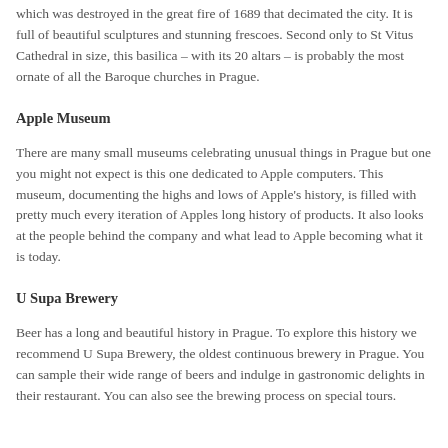which was destroyed in the great fire of 1689 that decimated the city. It is full of beautiful sculptures and stunning frescoes. Second only to St Vitus Cathedral in size, this basilica – with its 20 altars – is probably the most ornate of all the Baroque churches in Prague.
Apple Museum
There are many small museums celebrating unusual things in Prague but one you might not expect is this one dedicated to Apple computers. This museum, documenting the highs and lows of Apple's history, is filled with pretty much every iteration of Apples long history of products. It also looks at the people behind the company and what lead to Apple becoming what it is today.
U Supa Brewery
Beer has a long and beautiful history in Prague. To explore this history we recommend U Supa Brewery, the oldest continuous brewery in Prague. You can sample their wide range of beers and indulge in gastronomic delights in their restaurant. You can also see the brewing process on special tours.